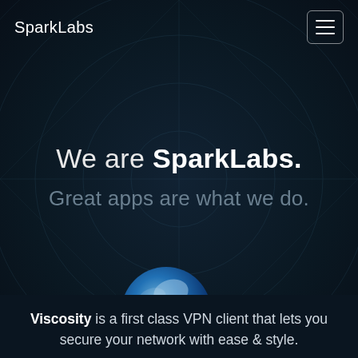SparkLabs
We are SparkLabs.
Great apps are what we do.
[Figure (illustration): SparkLabs Viscosity app icon: a blue globe with swirling VPN signal lines and a padlock in the foreground]
Viscosity is a first class VPN client that lets you secure your network with ease & style.